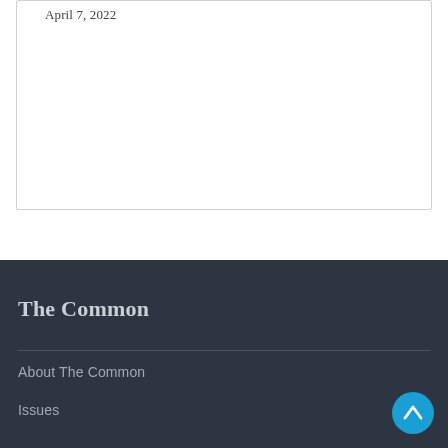April 7, 2022
The Common
About The Common
Issues